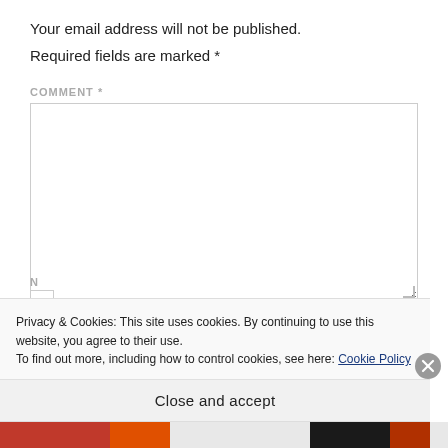Your email address will not be published.
Required fields are marked *
COMMENT *
[Figure (screenshot): Empty comment textarea input box with resize handle in bottom-right corner]
Privacy & Cookies: This site uses cookies. By continuing to use this website, you agree to their use.
To find out more, including how to control cookies, see here: Cookie Policy
Close and accept